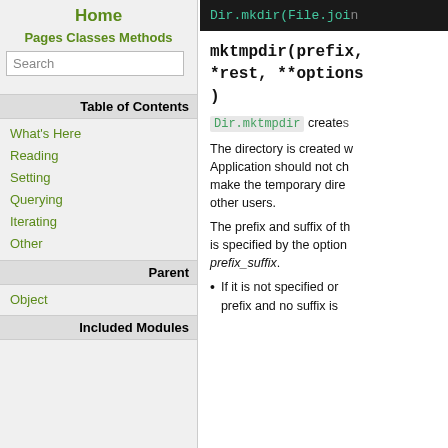Home
Pages Classes Methods
Search
Table of Contents
What's Here
Reading
Setting
Querying
Iterating
Other
Parent
Object
Included Modules
[Figure (screenshot): Code snippet showing Dir.mkdir(File.join in a dark terminal/code block]
mktmpdir(prefix, *rest, **options) { }
Dir.mktmpdir creates a temporary directory.
The directory is created with 0700 permission. Application should not change the permission to make the temporary directory accessible to other users.
The prefix and suffix of the name of the directory is specified by the optional first argument, prefix_suffix.
If it is not specified or nil, "d" is used as prefix and no suffix is used.